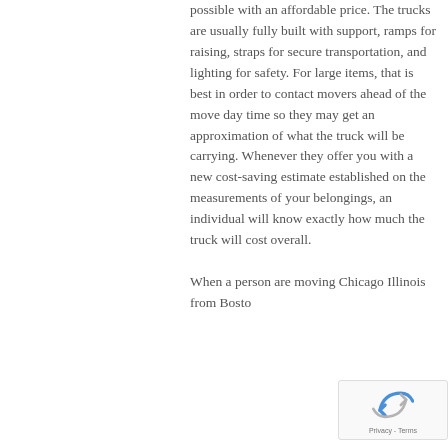possible with an affordable price. The trucks are usually fully built with support, ramps for raising, straps for secure transportation, and lighting for safety. For large items, that is best in order to contact movers ahead of the move day time so they may get an approximation of what the truck will be carrying. Whenever they offer you with a new cost-saving estimate established on the measurements of your belongings, an individual will know exactly how much the truck will cost overall.

When a person are moving Chicago Illinois from Bosto...